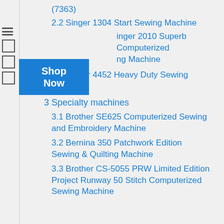(7363)
2.2 Singer 1304 Start Sewing Machine
2.3 Singer 2010 Superb Computerized Sewing Machine
2.4 Singer 4452 Heavy Duty Sewing Machine
3 Specialty machines
3.1 Brother SE625 Computerized Sewing and Embroidery Machine
3.2 Bernina 350 Patchwork Edition Sewing & Quilting Machine
3.3 Brother CS-5055 PRW Limited Edition Project Runway 50 Stitch Computerized Sewing Machine